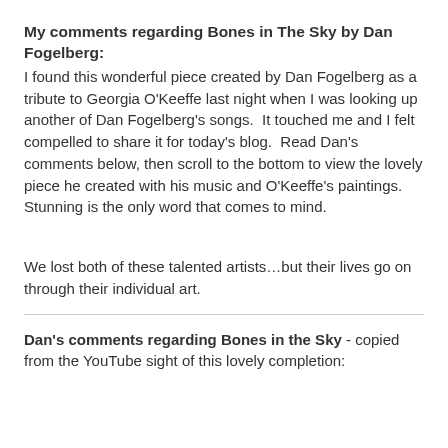My comments regarding Bones in The Sky by Dan Fogelberg:
I found this wonderful piece created by Dan Fogelberg as a tribute to Georgia O'Keeffe last night when I was looking up another of Dan Fogelberg's songs.  It touched me and I felt compelled to share it for today's blog.  Read Dan's comments below, then scroll to the bottom to view the lovely piece he created with his music and O'Keeffe's paintings.  Stunning is the only word that comes to mind.
We lost both of these talented artists…but their lives go on through their individual art.
Dan's comments regarding Bones in the Sky - copied from the YouTube sight of this lovely completion: